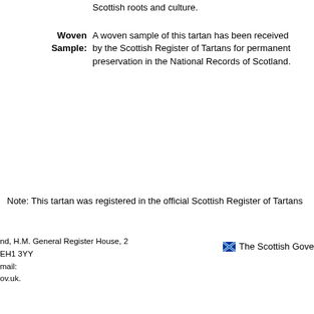Scottish roots and culture.
Woven Sample: A woven sample of this tartan has been received by the Scottish Register of Tartans for permanent preservation in the National Records of Scotland.
Note: This tartan was registered in the official Scottish Register of Tartans
nd, H.M. General Register House, 2
EH1 3YY
mail:
ov.uk.